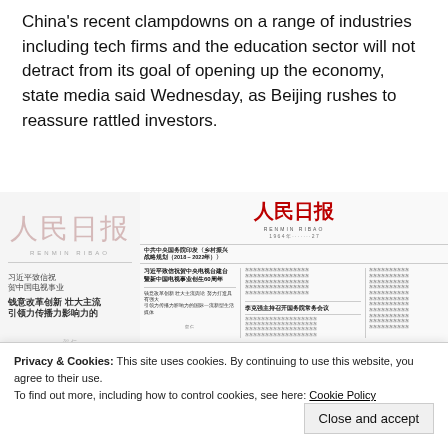China's recent clampdowns on a range of industries including tech firms and the education sector will not detract from its goal of opening up the economy, state media said Wednesday, as Beijing rushes to reassure rattled investors.
[Figure (photo): Front page of People's Daily (Renmin Ribao) newspaper showing Chinese headlines and masthead in red Chinese characters alongside a faded/ghosted duplicate of the same front page]
Privacy & Cookies: This site uses cookies. By continuing to use this website, you agree to their use.
To find out more, including how to control cookies, see here: Cookie Policy
Close and accept